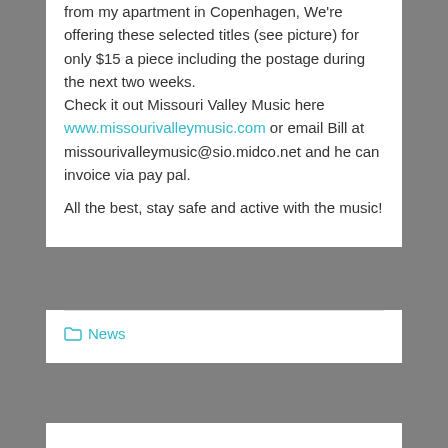from my apartment in Copenhagen, We're offering these selected titles (see picture) for only $15 a piece including the postage during the next two weeks. Check it out Missouri Valley Music here www.missourivalleymusic.com or email Bill at missourivalleymusic@sio.midco.net and he can invoice via pay pal.
All the best, stay safe and active with the music!
News
Spring project in a quiet time..
My good friend and fiddlers-colleague, Steen Jagd Andersen and I have taken the opportunity the past weeks to meet regularly (while keeping the distance) to